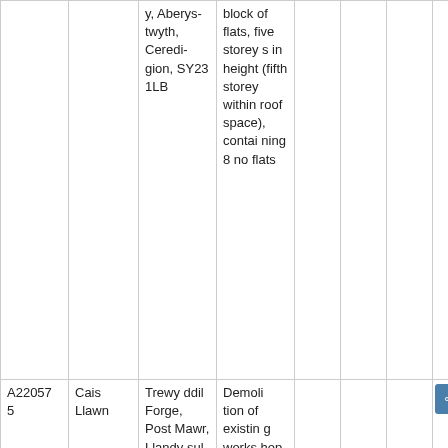|  |  | Address | Description |  |  |  |  |
| --- | --- | --- | --- | --- | --- | --- | --- |
|  |  | y, Aberystwyth, Ceredigion, SY23 1LB | block of flats, five storeys in height (fifth storey within roof space), containing 8 no flats |  |  |  |  |
| A220575 | Cais Llawn | Trewyddil Forge, Post Mawr, Llandysul, Ceredi... | Demolition of existing works hop building and... |  |  |  | Gweld |